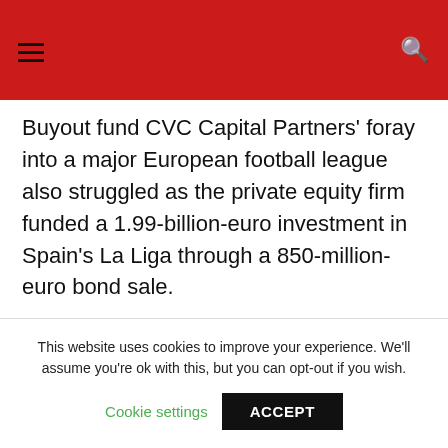Buyout fund CVC Capital Partners' foray into a major European football league also struggled as the private equity firm funded a 1.99-billion-euro investment in Spain's La Liga through a 850-million-euro bond sale.
Goldman Sachs, which led the bond sale, had to offer heavy discounts on both tranches, according to a deal document seen by Reuters. CVC and Goldman Sachs declined to comment.
This website uses cookies to improve your experience. We'll assume you're ok with this, but you can opt-out if you wish.
Cookie settings   ACCEPT